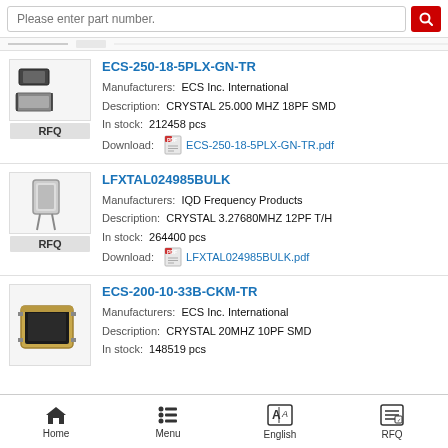[Figure (screenshot): Search bar with placeholder text 'Please enter part number.' and red search button]
ECS-250-18-5PLX-GN-TR
Manufacturers:  ECS Inc. International
Description:   CRYSTAL 25.000 MHZ 18PF SMD
In stock:   212458 pcs
Download:  ECS-250-18-5PLX-GN-TR.pdf
LFXTAL024985BULK
Manufacturers:  IQD Frequency Products
Description:   CRYSTAL 3.27680MHZ 12PF T/H
In stock:   264400 pcs
Download:  LFXTAL024985BULK.pdf
ECS-200-10-33B-CKM-TR
Manufacturers:  ECS Inc. International
Description:   CRYSTAL 20MHZ 10PF SMD
In stock:   148519 pcs
Home   Menu   English   RFQ